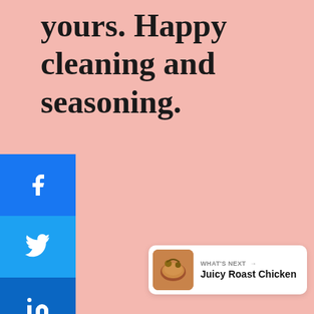yours. Happy cleaning and seasoning.
[Figure (infographic): Social media share sidebar with Facebook, Twitter, LinkedIn buttons and a + more button]
[Figure (infographic): Right-side floating UI panel with heart/like button, count '1', and share button]
[Figure (infographic): What's Next card showing a roast chicken thumbnail with label 'WHAT'S NEXT' and title 'Juicy Roast Chicken']